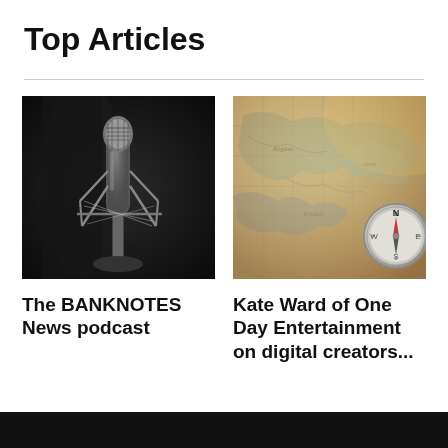Top Articles
[Figure (photo): Close-up photo of a professional studio condenser microphone on a shock mount in a dark studio setting]
The BANKNOTES News podcast
[Figure (photo): A vintage map with a compass resting on it, warm tones]
Kate Ward of One Day Entertainment on digital creators...